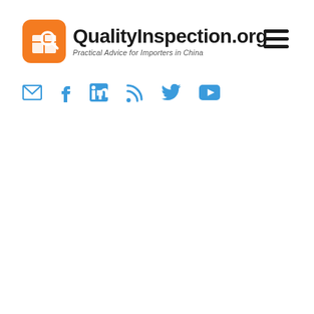[Figure (logo): QualityInspection.org logo with orange rounded square icon containing a magnifying glass over a box, and bold text 'QualityInspection.org' with subtitle 'Practical Advice for Importers in China']
[Figure (other): Hamburger menu icon (three horizontal lines) on the right side of the header]
[Figure (other): Row of social media icons in blue: email/envelope, Facebook, LinkedIn, RSS feed, Twitter, YouTube]